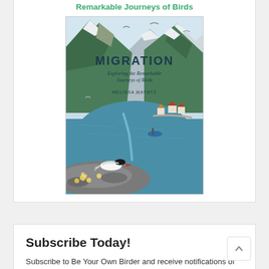Remarkable Journeys of Birds
[Figure (illustration): Book cover for 'Migration: Exploring the Remarkable Journeys of Birds' by Melissa Mayntz. Illustrated cover showing a scenic fjord landscape with mountains, a seabird (Arctic tern) perched on rocky foreground, seagulls in sky, small village and boat visible in background.]
Subscribe Today!
Subscribe to Be Your Own Birder and receive notifications of new posts!